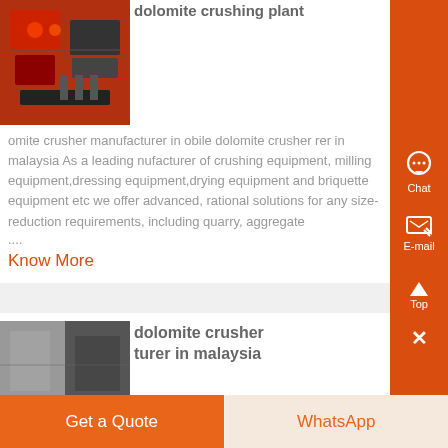dolomite crushing plant
[Figure (photo): Photo of red industrial electrical/crusher equipment with wiring and components]
omite crusher manufacturer in obile dolomite crusher rer in malaysia As a leading nufacturer of crushing equipment, milling equipment,dressing equipment,drying equipment and briquette equipment etc we offer advanced, rational solutions for any size-reduction requirements, including quarry, aggregate ....
Know More
dolomite crusher turer in malaysia
[Figure (photo): Photo of industrial dolomite crusher equipment in malaysia]
Get a Quote
WhatsApp